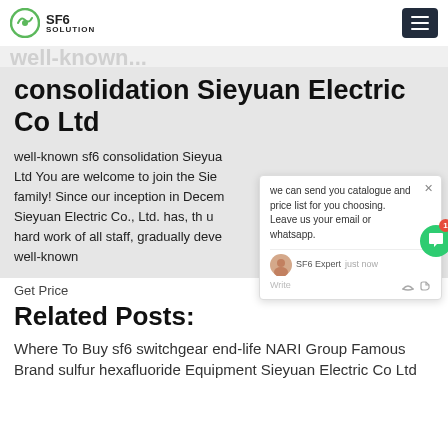SF6 SOLUTION
consolidation Sieyuan Electric Co Ltd
well-known sf6 consolidation Sieyuan Electric Co Ltd You are welcome to join the Sieyuan family! Since our inception in December, Sieyuan Electric Co., Ltd. has, through the hard work of all staff, gradually developed into a well-known
[Figure (screenshot): Chat popup widget showing message: 'we can send you catalogue and price list for you choosing. Leave us your email or whatsapp.' with SF6 Expert avatar, 'just now' timestamp, and Write input field with like and attachment icons. A green circular chat button with red badge showing '1' is visible.]
Get Price
Related Posts:
Where To Buy sf6 switchgear end-life NARI Group Famous Brand sulfur hexafluoride Equipment Sieyuan Electric Co Ltd